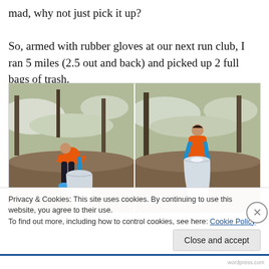mad, why not just pick it up?

So, armed with rubber gloves at our next run club, I ran 5 miles (2.5 out and back) and picked up 2 full bags of trash.
[Figure (photo): Two side-by-side photos of a woman in an orange jacket and blue rubber gloves picking up a large white trash bag in a snowy wooded area. Left photo: woman bending over to pick up bag. Right photo: woman standing upright holding the full bag.]
Privacy & Cookies: This site uses cookies. By continuing to use this website, you agree to their use.
To find out more, including how to control cookies, see here: Cookie Policy
Close and accept